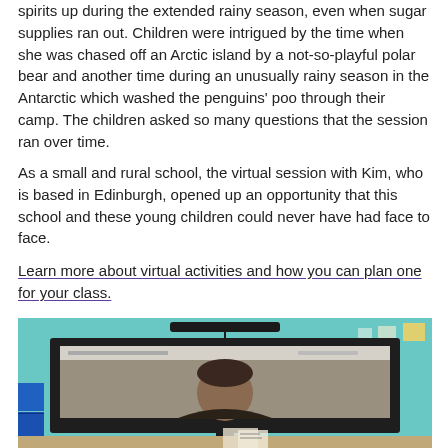spirits up during the extended rainy season, even when sugar supplies ran out.  Children were intrigued by the time when she was chased off an Arctic island by a not-so-playful polar bear and another time during an unusually rainy season in the Antarctic which washed the penguins' poo through their camp.  The children asked so many questions that the session ran over time.
As a small and rural school, the virtual session with Kim, who is based in Edinburgh, opened up an opportunity that this school and these young children could never have had face to face.
Learn more about virtual activities and how you can plan one for your class.
[Figure (photo): A classroom monitor/TV screen showing a video call with a person (Kim) visible on screen. The monitor is set against a teal/turquoise classroom wall. Blue storage boxes are visible on the left side.]